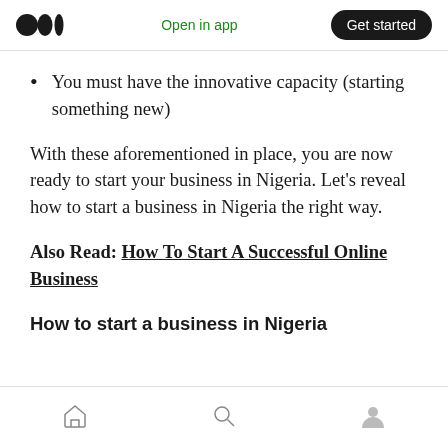Open in app | Get started
You must have the innovative capacity (starting something new)
With these aforementioned in place, you are now ready to start your business in Nigeria. Let's reveal how to start a business in Nigeria the right way.
Also Read: How To Start A Successful Online Business
How to start a business in Nigeria
Home | Search | Profile